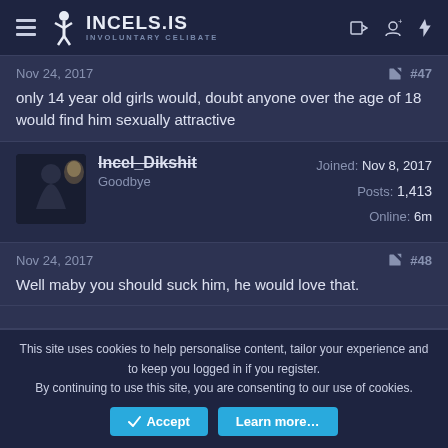INCELS.IS — INVOLUNTARY CELIBATE
Nov 24, 2017  #47
only 14 year old girls would, doubt anyone over the age of 18 would find him sexually attractive
Incel_Dikshit — Goodbye — Joined: Nov 8, 2017 — Posts: 1,413 — Online: 6m
Nov 24, 2017  #48
Well maby you should suck him, he would love that.
This site uses cookies to help personalise content, tailor your experience and to keep you logged in if you register. By continuing to use this site, you are consenting to our use of cookies.